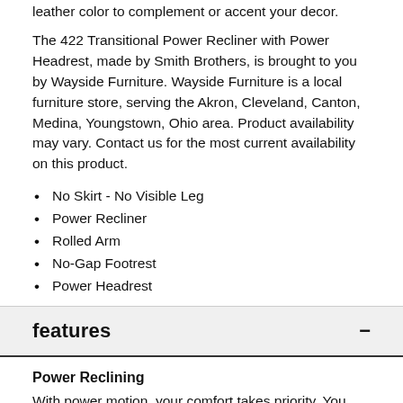leather color to complement or accent your decor.
The 422 Transitional Power Recliner with Power Headrest, made by Smith Brothers, is brought to you by Wayside Furniture. Wayside Furniture is a local furniture store, serving the Akron, Cleveland, Canton, Medina, Youngstown, Ohio area. Product availability may vary. Contact us for the most current availability on this product.
No Skirt - No Visible Leg
Power Recliner
Rolled Arm
No-Gap Footrest
Power Headrest
features
Power Reclining
With power motion, your comfort takes priority. You have complete control over your positioning, so finding